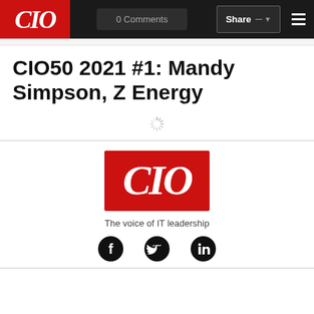CIO | 0 Comments | Share
CIO50 2021 #1: Mandy Simpson, Z Energy
[Figure (logo): Loading spinner icon]
[Figure (logo): CIO logo - red rectangle with white italic CIO text]
The voice of IT leadership
[Figure (infographic): Social media icons: Facebook, Twitter, LinkedIn]